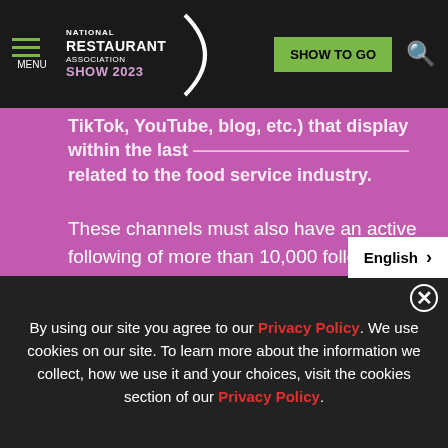National Restaurant Association Show 2023 | SHOW TO GO | MENU
TikTok, YouTube, blog, etc.) that display within the last related to the food service industry.
These channels must also have an active following of more than 10,000 followers and at least two (2) pieces of original content published per week.
3. An acknowledgement that the influencer agrees to the terms and conditions, including the posting requirements mentioned below.
English
By using our site you agree to our Privacy Policy. We use cookies on our site. To learn more about the information we collect, how we use it and your choices, visit the cookies section of our Privacy Policy.